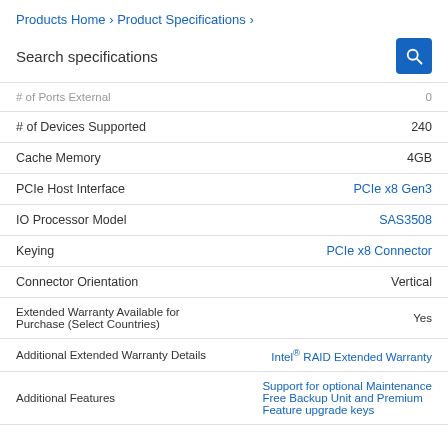Products Home › Product Specifications ›
Search specifications
| Specification | Value |
| --- | --- |
| # of Ports External | 0 |
| # of Devices Supported | 240 |
| Cache Memory | 4GB |
| PCIe Host Interface | PCIe x8 Gen3 |
| IO Processor Model | SAS3508 |
| Keying | PCIe x8 Connector |
| Connector Orientation | Vertical |
| Extended Warranty Available for Purchase (Select Countries) | Yes |
| Additional Extended Warranty Details | Intel® RAID Extended Warranty |
| Additional Features | Support for optional Maintenance Free Backup Unit and Premium Feature upgrade keys |